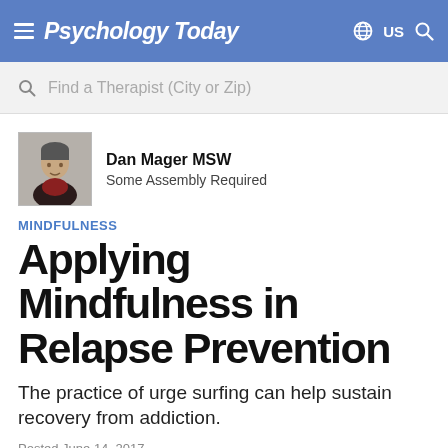Psychology Today — US
Find a Therapist (City or Zip)
Dan Mager MSW
Some Assembly Required
MINDFULNESS
Applying Mindfulness in Relapse Prevention
The practice of urge surfing can help sustain recovery from addiction.
Posted June 14, 2017